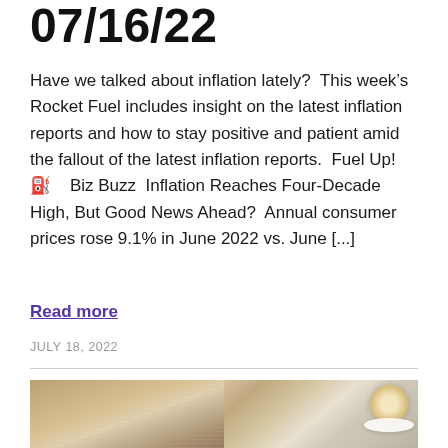07/16/22
Have we talked about inflation lately?  This week’s Rocket Fuel includes insight on the latest inflation reports and how to stay positive and patient amid the fallout of the latest inflation reports.  Fuel Up! ⛽    Biz Buzz  Inflation Reaches Four-Decade High, But Good News Ahead?  Annual consumer prices rose 9.1% in June 2022 vs. June [...]
Read more
JULY 18, 2022
[Figure (photo): Photo of a newspaper and a cup of coffee on a wooden table, viewed from above. Left side shows an open newspaper, right side shows a white cup and saucer with espresso.]